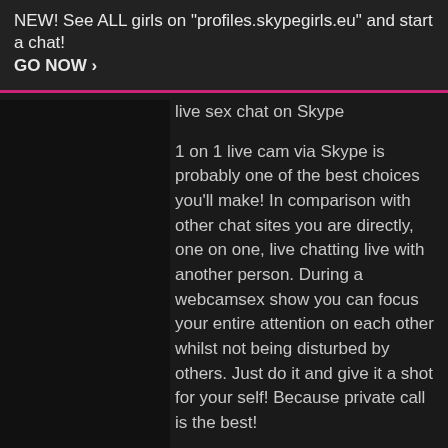NEW! See ALL girls on "profiles.skypegirls.eu" and start a chat! GO NOW ›
live sex chat on Skype
1 on 1 live cam via Skype is probably one of the best choices you'll make! In comparison with other chat sites you are directly, one on one, live chatting live with another person. During a webcamsex show you can focus your entire attention on each other whilst not being disturbed by others. Just do it and give it a shot for your self! Because private call is the best!
To make use of our solution you shall need Skype and our unique plugin. Aided by the plugin the models are compensated by you per second / minute. Skype and also the plugin work with all modern devices that are mobile. You can run the plugin also when you can run Skype.
Just as normal Webcamsex but then all private.